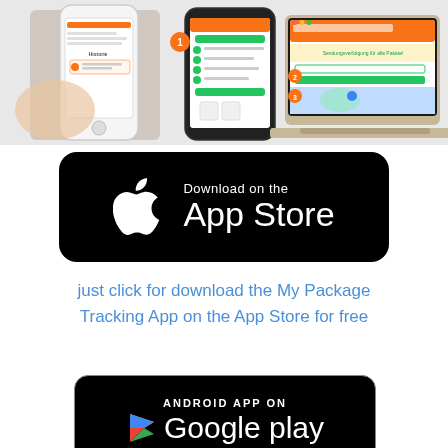[Figure (screenshot): Screenshots of a package tracking app shown on a smartphone and a laptop computer with a German-language interface]
[Figure (logo): Download on the App Store badge - black rounded rectangle with Apple logo and text 'Download on the App Store']
just click for download the My Package Tracking App on the App Store for free
[Figure (logo): Android App on Google Play badge - black rounded rectangle with Google Play triangle logo and text 'ANDROID APP ON Google play']